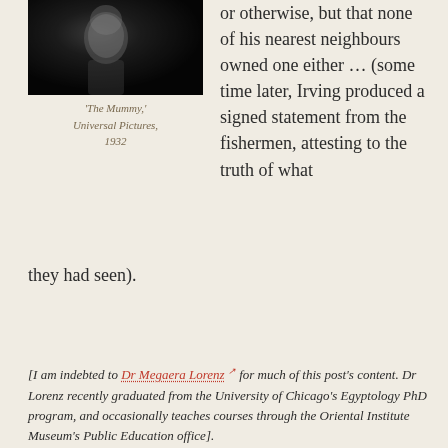[Figure (photo): Black and white still photo, appears to be from a horror film, showing a face or figure in dark tones]
'The Mummy,' Universal Pictures, 1932
or otherwise, but that none of his nearest neighbours owned one either … (some time later, Irving produced a signed statement from the fishermen, attesting to the truth of what they had seen).
[I am indebted to Dr Megaera Lorenz for much of this post's content. Dr Lorenz recently graduated from the University of Chicago's Egyptology PhD program, and occasionally teaches courses through the Oriental Institute Museum's Public Education office].